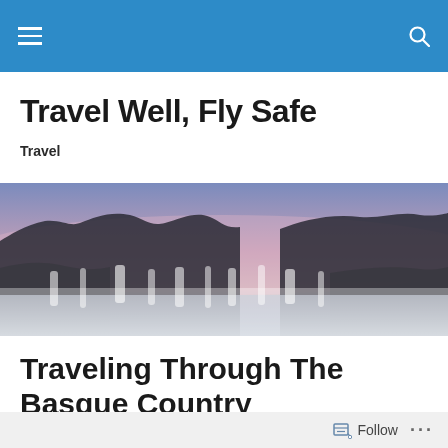Navigation bar with menu and search icons
Travel Well, Fly Safe
Travel
[Figure (photo): Panoramic view of Iguazu Falls at dusk with purple-pink sky and silhouetted trees]
Traveling Through The Basque Country
Follow